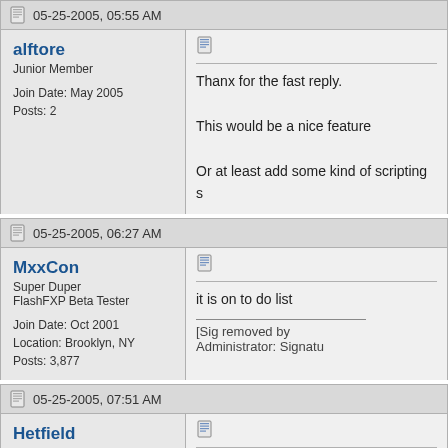05-25-2005, 05:55 AM
alftore
Junior Member
Join Date: May 2005
Posts: 2
Thanx for the fast reply.

This would be a nice feature

Or at least add some kind of scripting s
05-25-2005, 06:27 AM
MxxCon
Super Duper
FlashFXP Beta Tester
Join Date: Oct 2001
Location: Brooklyn, NY
Posts: 3,877
it is on to do list

[Sig removed by Administrator: Signatu
05-25-2005, 07:51 AM
Hetfield
Senior Member